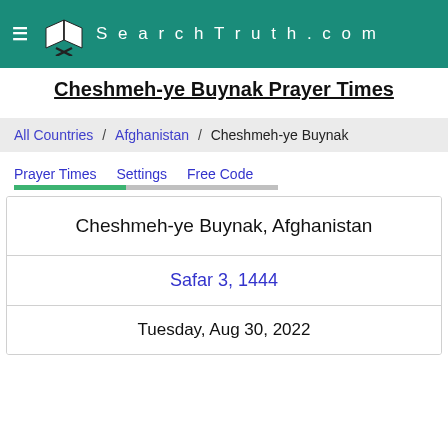SearchTruth.com
Cheshmeh-ye Buynak Prayer Times
All Countries / Afghanistan / Cheshmeh-ye Buynak
Prayer Times   Settings   Free Code
Cheshmeh-ye Buynak, Afghanistan
Safar 3, 1444
Tuesday, Aug 30, 2022